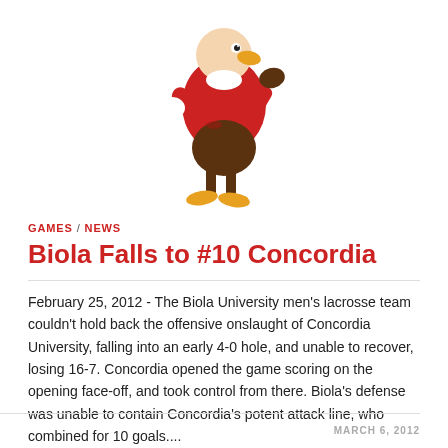[Figure (illustration): Cartoon mascot of a bird (eagle/hawk) wearing a red sweater, running, with brown feathers and yellow feet]
GAMES / NEWS
Biola Falls to #10 Concordia
February 25, 2012 - The Biola University men's lacrosse team couldn't hold back the offensive onslaught of Concordia University, falling into an early 4-0 hole, and unable to recover, losing 16-7. Concordia opened the game scoring on the opening face-off, and took control from there. Biola's defense was unable to contain Concordia's potent attack line, who combined for 10 goals....
MARCH 6, 2012